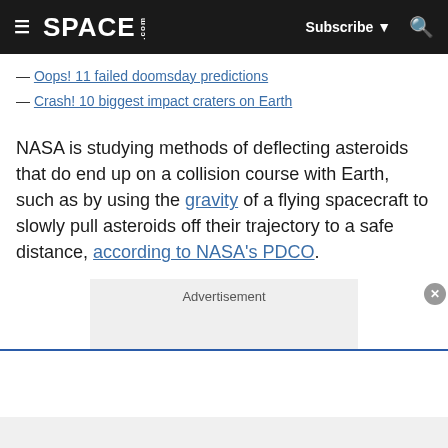SPACE.com | Subscribe | Search
— Oops! 11 failed doomsday predictions
— Crash! 10 biggest impact craters on Earth
NASA is studying methods of deflecting asteroids that do end up on a collision course with Earth, such as by using the gravity of a flying spacecraft to slowly pull asteroids off their trajectory to a safe distance, according to NASA's PDCO.
[Figure (other): Advertisement placeholder box with close button]